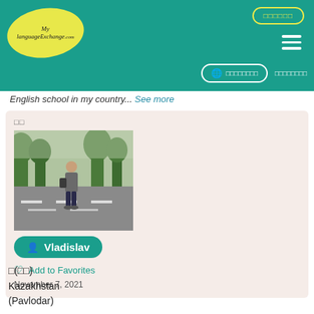[Figure (logo): MyLanguageExchange.com logo in yellow oval on teal header]
□□□□□□  ☰  □□□□□□□□  □□□□□□□□
English school in my country... See more
□□
[Figure (photo): Man walking on parking lot with trees in background]
Vladislav
Add to Favorites
November 7, 2021
□(□□)
Kazakhstan
(Pavlodar)